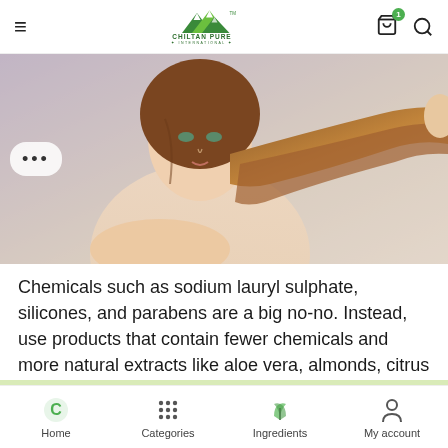Chiltan Pure International — navigation header with hamburger menu, logo, cart (1 item), and search icon
[Figure (photo): Woman with long flowing auburn hair holding it out to the side, hair care product marketing image]
Chemicals such as sodium lauryl sulphate, silicones, and parabens are a big no-no. Instead, use products that contain fewer chemicals and more natural extracts like aloe vera, almonds, citrus fruits, etc.
Read More Articles:
Home | Categories | Ingredients | My account